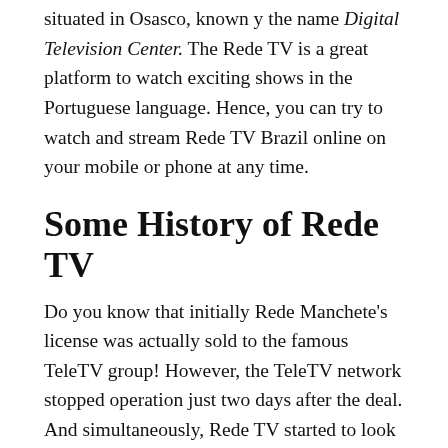situated in Osasco, known y the name Digital Television Center. The Rede TV is a great platform to watch exciting shows in the Portuguese language. Hence, you can try to watch and stream Rede TV Brazil online on your mobile or phone at any time.
Some History of Rede TV
Do you know that initially Rede Manchete's license was actually sold to the famous TeleTV group! However, the TeleTV network stopped operation just two days after the deal. And simultaneously, Rede TV started to look and test broadcasts during the same time as TV. It even aired some of the shows of Rede Manchete temporarily and an improved version of its daily